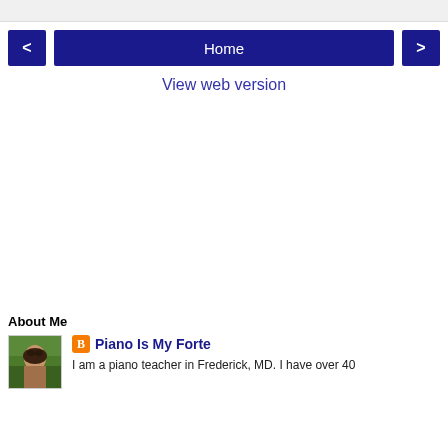< Home >
View web version
About Me
[Figure (photo): Profile photo of a woman with dark hair outdoors with green foliage background]
Piano Is My Forte
I am a piano teacher in Frederick, MD. I have over 40